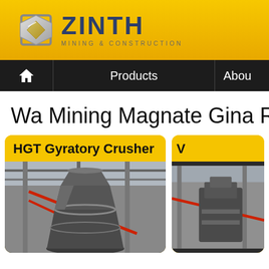[Figure (logo): ZINTH Mining & Construction company logo with metallic diamond/cube icon and company name in dark blue bold letters, subtitle 'MINING & CONSTRUCTION' in gray, on a yellow/gold gradient background header banner]
Home | Products | About
Wa Mining Magnate Gina Rine
[Figure (photo): HGT Gyratory Crusher product card with yellow header and photo of large industrial gyratory crusher machinery in factory/industrial setting with steel framework visible]
[Figure (photo): Second product card (partially visible) with yellow header and industrial machinery photo]